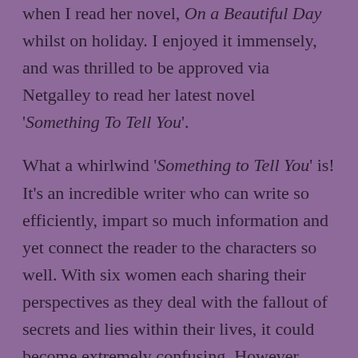when I read her novel, On a Beautiful Day whilst on holiday. I enjoyed it immensely, and was thrilled to be approved via Netgalley to read her latest novel 'Something To Tell You'.

What a whirlwind 'Something to Tell You' is! It's an incredible writer who can write so efficiently, impart so much information and yet connect the reader to the characters so well. With six women each sharing their perspectives as they deal with the fallout of secrets and lies within their lives, it could become extremely confusing. However, each character is created so wonderfully unique, and their individual storylines so touching, that I was completely engrossed.